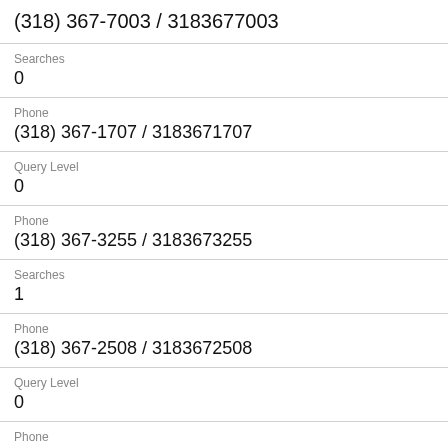(318) 367-7003 / 3183677003
Searches
0
Phone
(318) 367-1707 / 3183671707
Query Level
0
Phone
(318) 367-3255 / 3183673255
Searches
1
Phone
(318) 367-2508 / 3183672508
Query Level
0
Phone
(318) 367-9833 / 3183679833
Searches